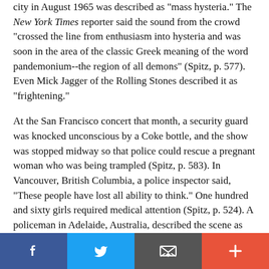city in August 1965 was described as "mass hysteria." The New York Times reporter said the sound from the crowd "crossed the line from enthusiasm into hysteria and was soon in the area of the classic Greek meaning of the word pandemonium--the region of all demons" (Spitz, p. 577). Even Mick Jagger of the Rolling Stones described it as "frightening."
At the San Francisco concert that month, a security guard was knocked unconscious by a Coke bottle, and the show was stopped midway so that police could rescue a pregnant woman who was being trampled (Spitz, p. 583). In Vancouver, British Columbia, a police inspector said, “These people have lost all ability to think.” One hundred and sixty girls required medical attention (Spitz, p. 524). A policeman in Adelaide, Australia, described the scene as “frightening, chaotic, and rather inhuman” (Spitz, p. 510). When they arrived back in England from their first overseas tour, a crowd of thousands of teenagers “went on a rampage through Heathrow Airport, bending steel crash barriers and demolishing car roofs as if they were made of tinfoil” (Spitz, p. 486).